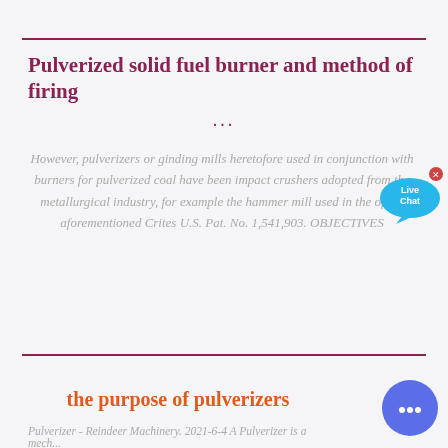Pulverized solid fuel burner and method of firing ...
However, pulverizers or ginding mills heretofore used in conjunction with burners for pulverized coal have been impact crushers adopted from the metallurgical industry, for example the hammer mill used in the of the aforementioned Crites U.S. Pat. No. 1,541,903. OBJECTIVES
the purpose of pulverizers
Pulverizer - Reindeer Machinery. 2021-6-4 A Pulverizer is a mech...